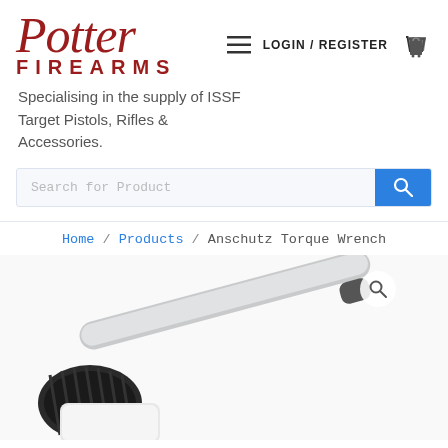[Figure (logo): Potter Firearms logo — red cursive 'Potter' script above red bold 'FIREARMS' text in capital letters with wide letter-spacing]
≡  LOGIN / REGISTER  🛍
Specialising in the supply of ISSF Target Pistols, Rifles & Accessories.
Search for Product
Home / Products / Anschutz Torque Wrench
[Figure (photo): Close-up photo of two Anschutz Torque Wrenches with black textured grips and silver cylindrical barrels, partially visible at bottom of page. A magnifying glass search icon overlay appears in upper right of the image.]